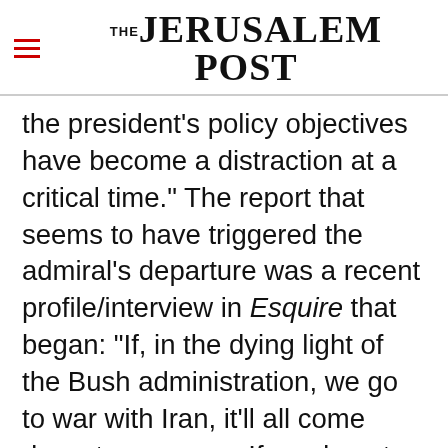THE JERUSALEM POST
the president's policy objectives have become a distraction at a critical time." The report that seems to have triggered the admiral's departure was a recent profile/interview in Esquire that began: "If, in the dying light of the Bush administration, we go to war with Iran, it'll all come down to one man. If we do not go to war with Iran, it'll come down to the same man, and a man of strategic brilliance. His name is William Fallon, although all of his friends call him 'Fox.'"
Advertisement